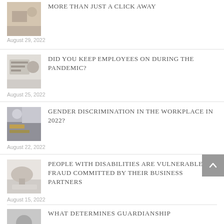More Than Just a Click Away
August 29, 2022
Did You Keep Employees On During the Pandemic?
August 25, 2022
Gender Discrimination in the Workplace in 2022?
August 22, 2022
People With Disabilities Are Vulnerable to Fraud Committed By Their Business Partners
August 15, 2022
What Determines Guardianship